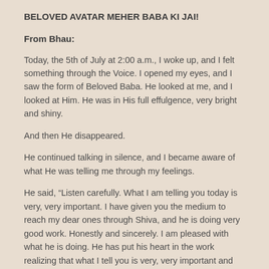BELOVED AVATAR MEHER BABA KI JAI!
From Bhau:
Today, the 5th of July at 2:00 a.m., I woke up, and I felt something through the Voice. I opened my eyes, and I saw the form of Beloved Baba. He looked at me, and I looked at Him. He was in His full effulgence, very bright and shiny.
And then He disappeared.
He continued talking in silence, and I became aware of what He was telling me through my feelings.
He said, “Listen carefully. What I am telling you today is very, very important. I have given you the medium to reach my dear ones through Shiva, and he is doing very good work. Honestly and sincerely. I am pleased with what he is doing. He has put his heart in the work realizing that what I tell you is very, very important and useful for My dear ones, and therefore he is circulating these messages.